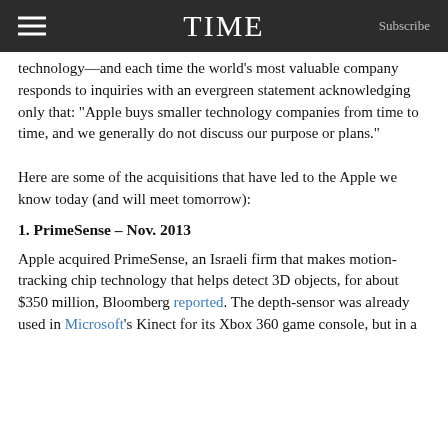TIME   Subscribe
technology—and each time the world’s most valuable company responds to inquiries with an evergreen statement acknowledging only that: “Apple buys smaller technology companies from time to time, and we generally do not discuss our purpose or plans.”
Here are some of the acquisitions that have led to the Apple we know today (and will meet tomorrow):
1. PrimeSense – Nov. 2013
Apple acquired PrimeSense, an Israeli firm that makes motion-tracking chip technology that helps detect 3D objects, for about $350 million, Bloomberg reported. The depth-sensor was already used in Microsoft’s Kinect for its Xbox 360 game console, but in a